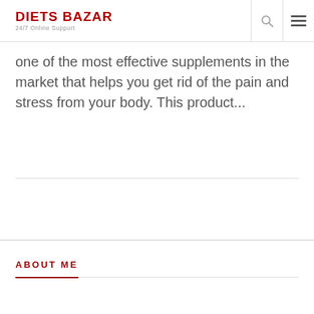DIETS BAZAR — 24/7 Online Support
one of the most effective supplements in the market that helps you get rid of the pain and stress from your body. This product...
ABOUT ME